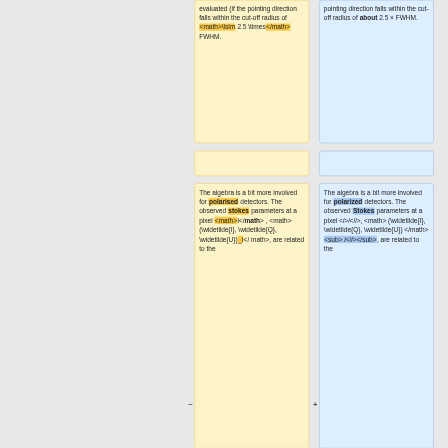evaluated (if the pointing direction falls within the cut-off radius of <math>\lsim 2.5 \times</math> FWHM.
pointing direction falls within the cut-off radius of about 2.5 × FWHM.
The algebra is a bit more involved for polarised detectors. The observed stokes parameters at a pixel <math>i</math>, <math>(\widetilde{I}, \widetilde{Q}, \widetilde{U})_i</math>, are related to the
The algebra is a bit more involved for polarized detectors. The observed Stokes parameters at a pixel <i>i</i>, <math>(\widetilde{I}, \widetilde{Q}, \widetilde{U})</math><sub><i>i</i></sub>, are related to the